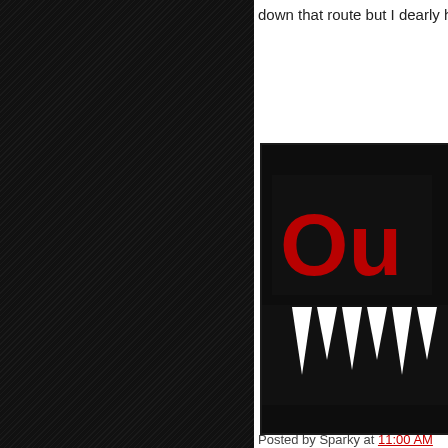down that route but I dearly hop
[Figure (photo): Partial view of a vampire-themed logo/graphic showing red stylized text 'Ou' and white vampire fangs on a dark background]
Posted by Sparky at 11:00 AM
Labels: 2.5 Fangs, fae, Lost Gir
ALSO ON FANGSFORTHEFANT...
[Figure (photo): Group of people standing together, appears to be a TV show promotional image with text overlay 'Fangs For The asy: The ...']